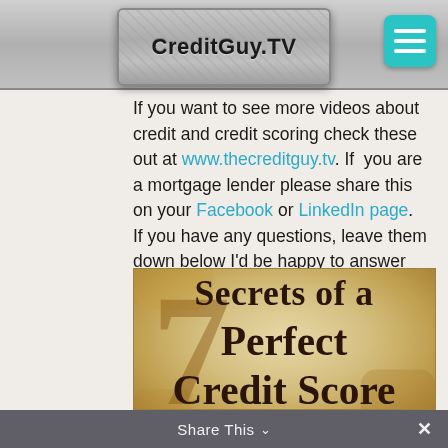CreditGuy.TV
If you want to see more videos about credit and credit scoring check these out at www.thecreditguy.tv. If you are a mortgage lender please share this on your Facebook or LinkedIn page. If you have any questions, leave them down below I'd be happy to answer them.
[Figure (illustration): Promotional image with large stylized number 7 and text reading '7 Secrets of a Perfect Credit Score' on an aged parchment-style background]
Share This ✓  ×